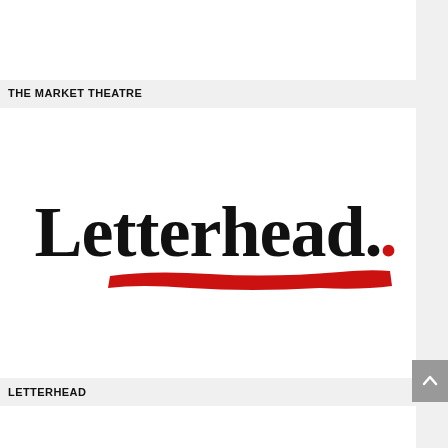[Figure (logo): White rectangle at top of page, part of a website card layout]
THE MARKET THEATRE
[Figure (logo): Letterhead logo: bold serif black text reading 'Letterhead.' with a red dot at the end, and a red brushstroke underline beneath the text, on a white background card]
LETTERHEAD
[Figure (other): White rectangle at bottom of page, part of a website card layout]